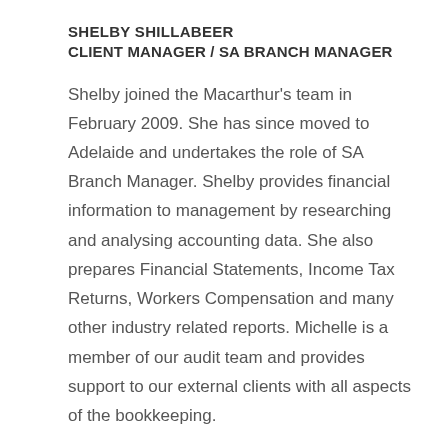SHELBY SHILLABEER
CLIENT MANAGER / SA BRANCH MANAGER
Shelby joined the Macarthur’s team in February 2009. She has since moved to Adelaide and undertakes the role of SA Branch Manager. Shelby provides financial information to management by researching and analysing accounting data. She also prepares Financial Statements, Income Tax Returns, Workers Compensation and many other industry related reports. Michelle is a member of our audit team and provides support to our external clients with all aspects of the bookkeeping.
CHARLOTTE MCGREGOR